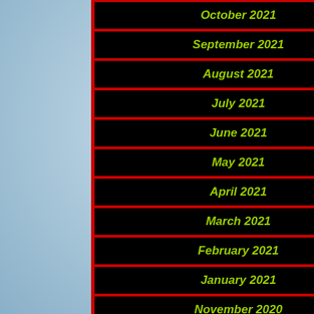October 2021
September 2021
August 2021
July 2021
June 2021
May 2021
April 2021
March 2021
February 2021
January 2021
November 2020
Trump has also be
James Dods... author he�s... and he has b... wrote Arnold...
That�s no c... and luncheo... one of his p...
'Donald Tru...
Though they... on the game...
"I knew Trum... was buying ... distressed p... dollar renov...
So James De... describes hi... maybe he th... Trump. But t... wasn�t Doc...